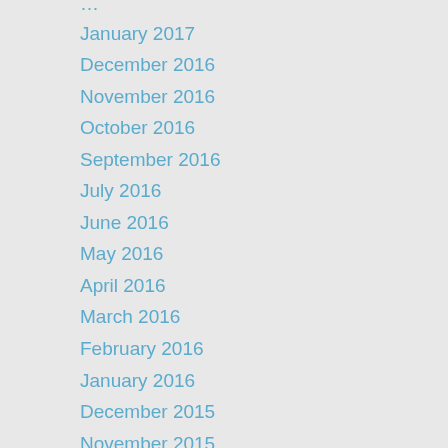January 2017
December 2016
November 2016
October 2016
September 2016
July 2016
June 2016
May 2016
April 2016
March 2016
February 2016
January 2016
December 2015
November 2015
October 2015
September 2015
May 2015
April 2015
March 2015
December 2014